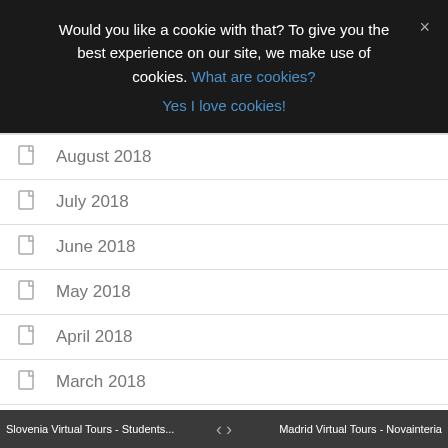Would you like a cookie with that? To give you the best experience on our site, we make use of cookies. What are cookies?
Yes I love cookies!
August 2018
July 2018
June 2018
May 2018
April 2018
March 2018
February 2018
January 2018
December 2017
November 2017
Slovenia Virtual Tours - Students...   <   >   Madrid Virtual Tours - Novainteria